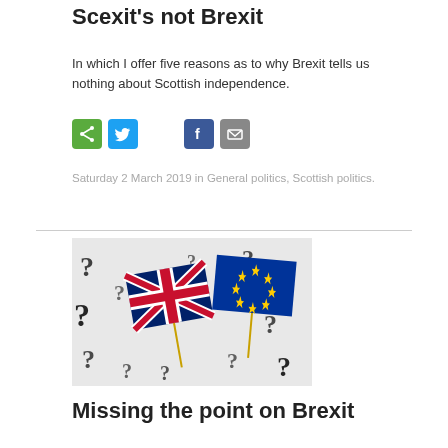Scexit's not Brexit
In which I offer five reasons as to why Brexit tells us nothing about Scottish independence.
[Figure (infographic): Social sharing buttons: share (green), Twitter (blue), Facebook (blue), email (grey)]
Saturday 2 March 2019 in General politics, Scottish politics.
[Figure (photo): Photo of UK and EU flags on toothpick sticks surrounded by question marks on a white background]
Missing the point on Brexit